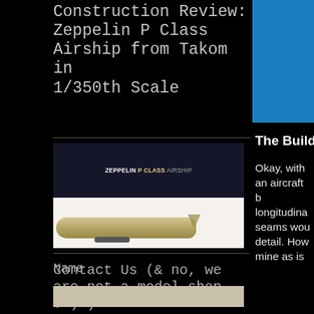Construction Review: Zeppelin P Class Airship from Takom in 1/350th Scale
[Figure (photo): Assembled Zeppelin P Class Airship model kit from Takom in 1/350th scale, shown in front of its box art]
[Figure (photo): Blue decorative box in upper right corner]
Contact Us (& no, we are not a model shop :-) )
Name
The Build
Okay, with an aircraft b longitudina seams wou detail. How mine as is